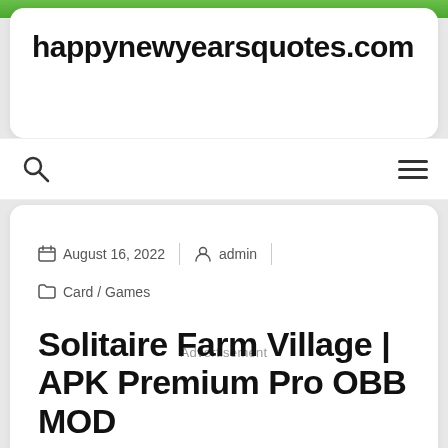happynewyearsquotes.com
August 16, 2022 | admin | Card / Games
Advertisement
Solitaire Farm Village | APK Premium Pro OBB MOD